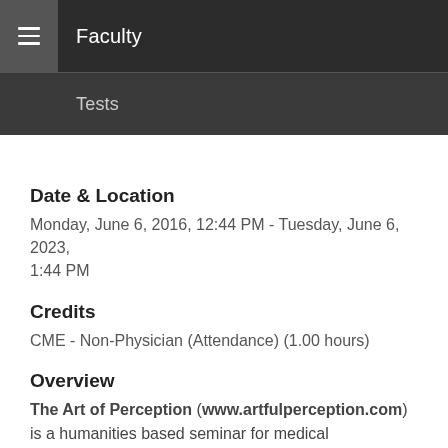Faculty
Tests
Date & Location
Monday, June 6, 2016, 12:44 PM - Tuesday, June 6, 2023, 1:44 PM
Credits
CME - Non-Physician (Attendance) (1.00 hours)
Overview
The Art of Perception (www.artfulperception.com) is a humanities based seminar for medical professionals that is designed to enhance observation, perception, and communication skills by learning to analyze works of art. The collaborative program was developed in 2001 at The